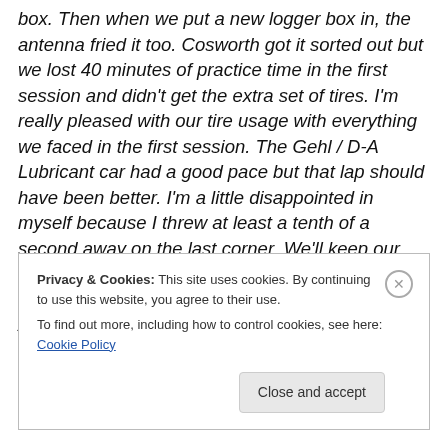box. Then when we put a new logger box in, the antenna fried it too. Cosworth got it sorted out but we lost 40 minutes of practice time in the first session and didn't get the extra set of tires. I'm really pleased with our tire usage with everything we faced in the first session. The Gehl / D-A Lubricant car had a good pace but that lap should have been better. I'm a little disappointed in myself because I threw at least a tenth of a second away on the last corner. We'll keep our heads down and keep pounding hard to make the car better. It's awesome to be here at Road America. On the out laps you see all the fans and it's
Privacy & Cookies: This site uses cookies. By continuing to use this website, you agree to their use.
To find out more, including how to control cookies, see here: Cookie Policy